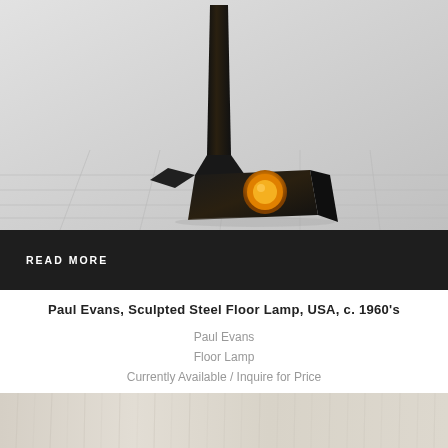[Figure (photo): Photograph of a Paul Evans sculpted steel floor lamp with geometric angular base and orange circular detail, photographed against a light gray background with grid floor.]
READ MORE
Paul Evans, Sculpted Steel Floor Lamp, USA, c. 1960's
Paul Evans
Floor Lamp
Currently Available / Inquire for Price
[Figure (photo): Partial view of another item, showing a beige/cream textured surface with vertical striations.]